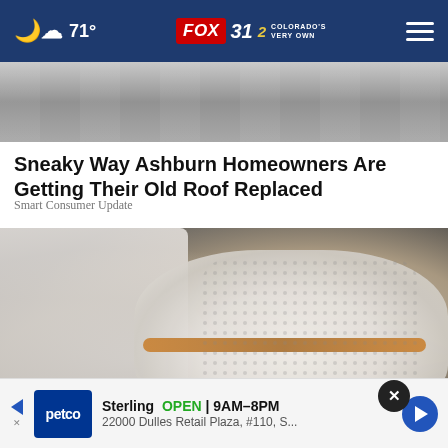71° FOX 31 2 COLORADO'S VERY OWN
[Figure (photo): Top portion of a rooftop or pavement photo — partial article image]
Sneaky Way Ashburn Homeowners Are Getting Their Old Roof Replaced
Smart Consumer Update
[Figure (photo): Close-up photo of a person wearing white pants and white slip-on sneakers with tan/brown stripe detail, walking on pavement]
Sterling  OPEN | 9AM–8PM
22000 Dulles Retail Plaza, #110, S...